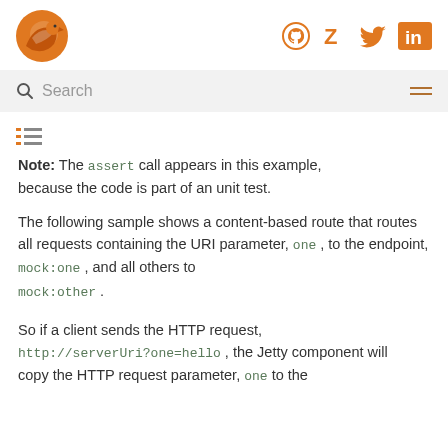Camel logo and social icons (GitHub, Zulip, Twitter, LinkedIn)
Search
[Figure (logo): Apache Camel bird logo in orange]
Note: The assert call appears in this example, because the code is part of an unit test.
The following sample shows a content-based route that routes all requests containing the URI parameter, one , to the endpoint, mock:one , and all others to mock:other .
So if a client sends the HTTP request, http://serverUri?one=hello , the Jetty component will copy the HTTP request parameter, one to the